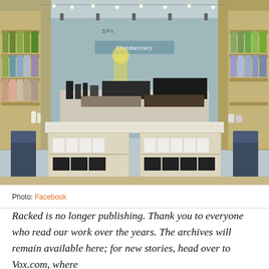[Figure (photo): Interior of a Bluemercury cosmetics and spa retail store, showing a large central display counter with beauty products, wall shelving with products on both sides, blue upholstered chairs, overhead string lights, and the Bluemercury brand sign visible in the background.]
Photo: Facebook
Racked is no longer publishing. Thank you to everyone who read our work over the years. The archives will remain available here; for new stories, head over to Vox.com, where